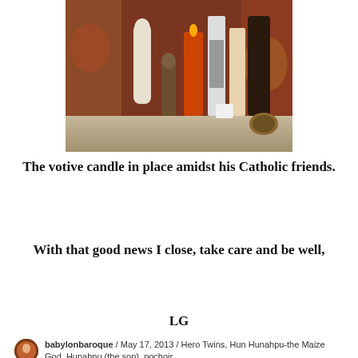[Figure (photo): A shelf with Catholic religious items including a white Virgin Mary statue, several tall votive candles with saint images, and other devotional objects against a floral-patterned background.]
The votive candle in place amidst his Catholic friends.
With that good news I close, take care and be well,
LG
babylonbaroque / May 17, 2013 / Hero Twins, Hun Hunahpu-the Maize God, Hunahpu (the son), pochoir